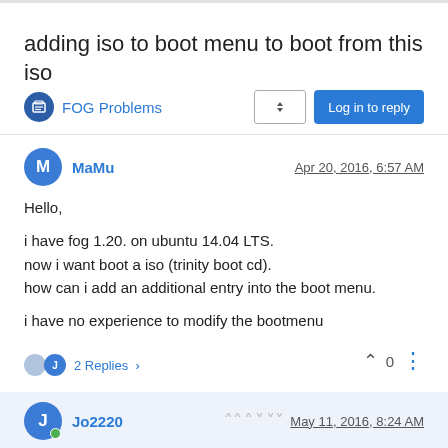adding iso to boot menu to boot from this iso
FOG Problems
MaMu
Apr 20, 2016, 6:57 AM
Hello,
i have fog 1.20. on ubuntu 14.04 LTS.
now i want boot a iso (trinity boot cd).
how can i add an additional entry into the boot menu.
i have no experience to modify the bootmenu
2 Replies
Jo2220
May 11, 2016, 8:24 AM